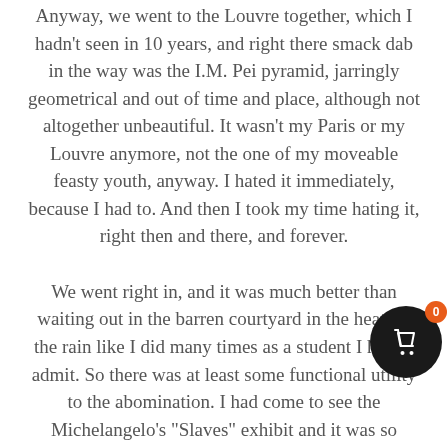Anyway, we went to the Louvre together, which I hadn't seen in 10 years, and right there smack dab in the way was the I.M. Pei pyramid, jarringly geometrical and out of time and place, although not altogether unbeautiful. It wasn't my Paris or my Louvre anymore, not the one of my moveable feasty youth, anyway. I hated it immediately, because I had to. And then I took my time hating it, right then and there, and forever.
We went right in, and it was much better than waiting out in the barren courtyard in the heat, or the rain like I did many times as a student I had to admit. So there was at least some functional utility to the abomination. I had come to see the Michelangelo's "Slaves" exhibit and it was so unbelievable to me that